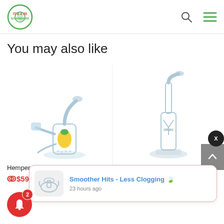It's 4:20 Somewhere (logo) | search | menu
You may also like
[Figure (photo): Hemper Pineapple Rig glass water pipe with pineapple design]
Hemper Pineapple Rig
ↂ$59.99
[Figure (photo): GRAV 6 inch Upright Bubbler Water Pipe - Clear glass]
GRAV® 6" Upright Bubbler Water Pipe – Clear
[Figure (photo): Notification popup image of glass bowl]
Smoother Hits - Less Clogging 🍃
23 hours ago